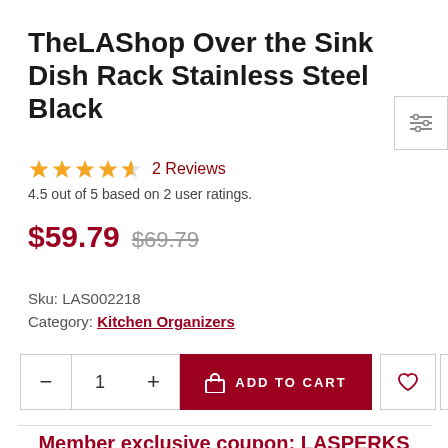TheLAShop Over the Sink Dish Rack Stainless Steel Black
★★★★½ 2 Reviews
4.5 out of 5 based on 2 user ratings.
$59.79 $69.79
Sku: LAS002218
Category: Kitchen Organizers
− 1 + ADD TO CART ♡ 📊
Member exclusive coupon: LASPERKS $25 OFF on Order $200